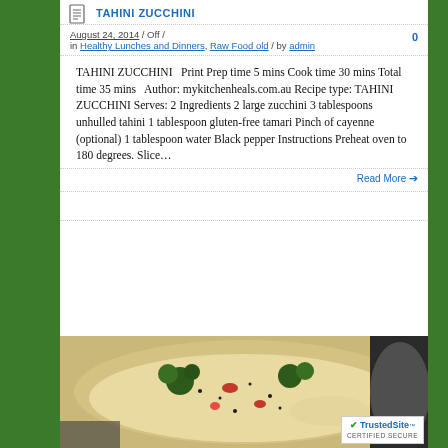TAHINI ZUCCHINI
August 24, 2014 / Off / in Healthy Lunches and Dinners, Raw Food old / by admin    0
TAHINI ZUCCHINI   Print Prep time 5 mins Cook time 30 mins Total time 35 mins   Author: mykitchenheals.com.au Recipe type: TAHINI ZUCCHINI Serves: 2 Ingredients 2 large zucchini 3 tablespoons unhulled tahini 1 tablespoon gluten-free tamari Pinch of cayenne (optional) 1 tablespoon water Black pepper Instructions Preheat oven to 180 degrees. Slice…
Read More →
[Figure (photo): Bowl of soup or stew with broccoli, tomatoes, and other vegetables in a creamy white broth, viewed from above]